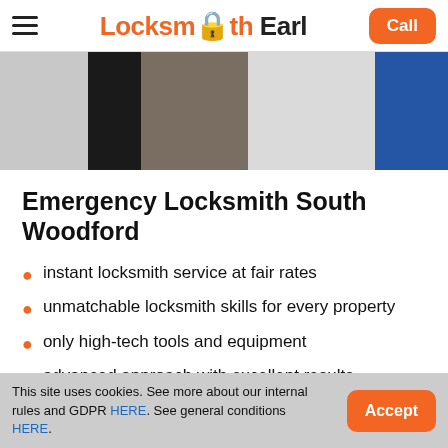Locksmith Earl — Call
[Figure (photo): Hero photo showing a locksmith at work near a door, partially visible blue uniform on the right side]
Emergency Locksmith South Woodford
instant locksmith service at fair rates
unmatchable locksmith skills for every property
only high-tech tools and equipment
advanced approach with excellent results
This site uses cookies. See more about our internal rules and GDPR HERE. See general conditions HERE. Accept